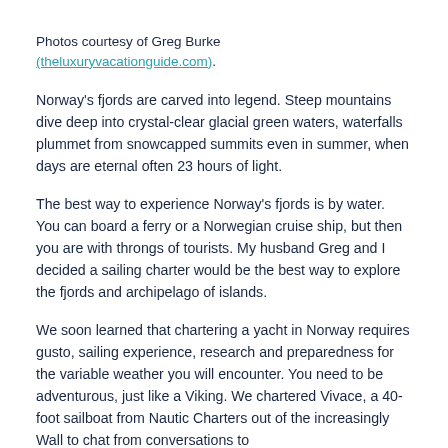Photos courtesy of Greg Burke (theluxuryvacationguide.com).
Norway's fjords are carved into legend. Steep mountains dive deep into crystal-clear glacial green waters, waterfalls plummet from snowcapped summits even in summer, when days are eternal often 23 hours of light.
The best way to experience Norway's fjords is by water. You can board a ferry or a Norwegian cruise ship, but then you are with throngs of tourists. My husband Greg and I decided a sailing charter would be the best way to explore the fjords and archipelago of islands.
We soon learned that chartering a yacht in Norway requires gusto, sailing experience, research and preparedness for the variable weather you will encounter. You need to be adventurous, just like a Viking. We chartered Vivace, a 40-foot sailboat from Nautic Charters out of the increasingly Wall to chat from conversations to